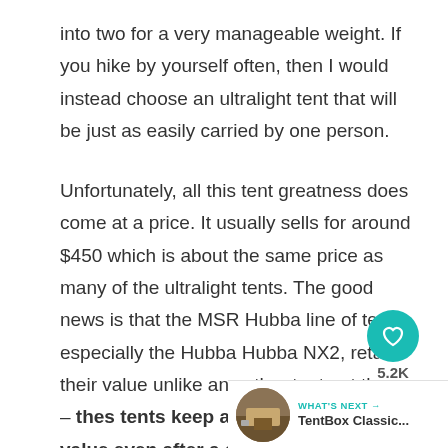into two for a very manageable weight. If you hike by yourself often, then I would instead choose an ultralight tent that will be just as easily carried by one person.
Unfortunately, all this tent greatness does come at a price. It usually sells for around $450 which is about the same price as many of the ultralight tents. The good news is that the MSR Hubba line of tents, especially the Hubba Hubba NX2, retain their value unlike any other tent out there – these tents keep about 80% of their value even after a decade or more of use.